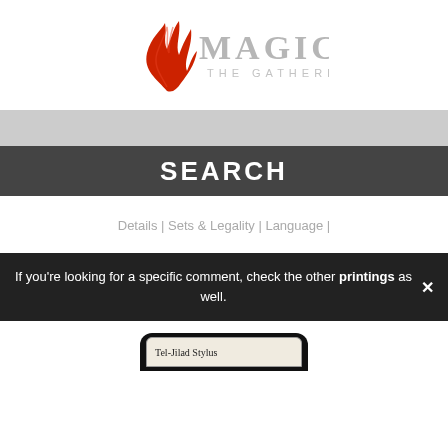[Figure (logo): Magic: The Gathering logo with red flame/planeswalker symbol on the left and silver/grey MAGIC THE GATHERING text on the right]
[Figure (other): Light grey search input bar]
SEARCH
Details | Sets & Legality | Language |
If you're looking for a specific comment, check the other printings as well.
[Figure (screenshot): Partial card preview showing Tel-Jilad Stylus card name at the bottom of the page]